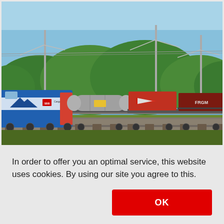[Figure (photo): A freight train carrying various cargo containers including a tank wagon, flatbed cars with containers (showing logos such as SBB Cargo International, BT arrow logo, FRGM, and others), traveling along a railway track. Green trees are visible in the background under a blue sky with overhead electric railway wires and catenary poles.]
In order to offer you an optimal service, this website uses cookies. By using our site you agree to this.